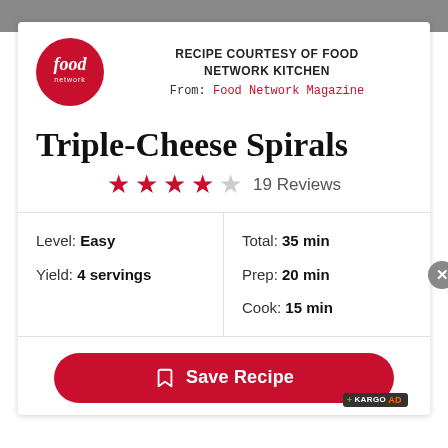[Figure (logo): Food Network red circular logo]
RECIPE COURTESY OF FOOD NETWORK KITCHEN
From: Food Network Magazine
Triple-Cheese Spirals
★★★★☆ 19 Reviews
Level: Easy
Yield: 4 servings
Total: 35 min
Prep: 20 min
Cook: 15 min
Save Recipe